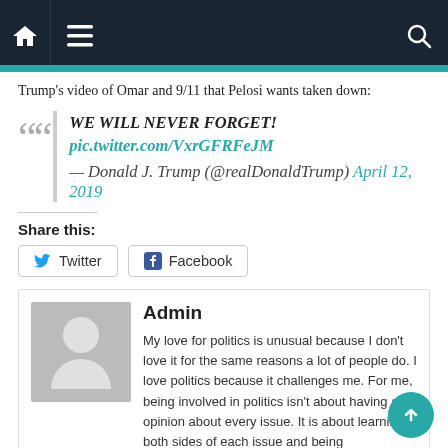Navigation bar with home, menu, and search icons
Trump’s video of Omar and 9/11 that Pelosi wants taken down:
WE WILL NEVER FORGET! pic.twitter.com/VxrGFRFeJM — Donald J. Trump (@realDonaldTrump) April 12, 2019
Share this:
Twitter
Facebook
Admin
My love for politics is unusual because I don't love it for the same reasons a lot of people do. I love politics because it challenges me. For me, being involved in politics isn't about having an opinion about every issue. It is about learning both sides of each issue and being